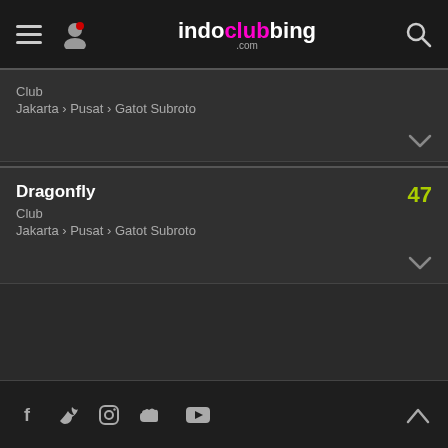indoclubbing.com
Club
Jakarta › Pusat › Gatot Subroto
Dragonfly
47
Club
Jakarta › Pusat › Gatot Subroto
Social media icons: Facebook, Twitter, Instagram, SoundCloud, YouTube